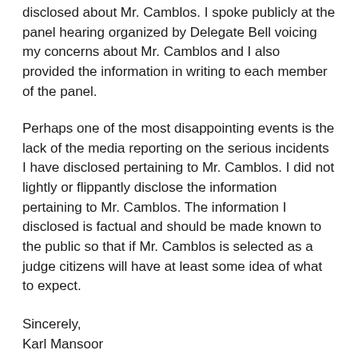disclosed about Mr. Camblos. I spoke publicly at the panel hearing organized by Delegate Bell voicing my concerns about Mr. Camblos and I also provided the information in writing to each member of the panel.
Perhaps one of the most disappointing events is the lack of the media reporting on the serious incidents I have disclosed pertaining to Mr. Camblos. I did not lightly or flippantly disclose the information pertaining to Mr. Camblos. The information I disclosed is factual and should be made known to the public so that if Mr. Camblos is selected as a judge citizens will have at least some idea of what to expect.
Sincerely,
Karl Mansoor
Master Police Officer Albemarle County PD
Retired